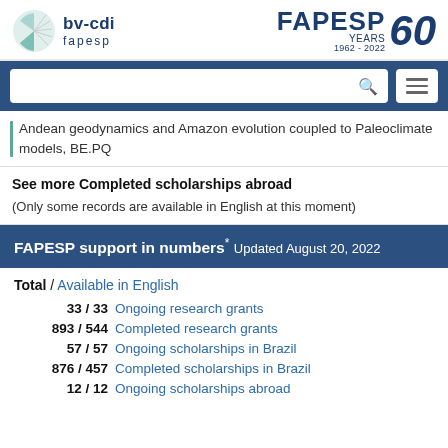bv-cdi fapesp | FAPESP 60 YEARS 1962-2022
Andean geodynamics and Amazon evolution coupled to Paleoclimate models, BE.PQ
See more Completed scholarships abroad
(Only some records are available in English at this moment)
FAPESP support in numbers* Updated August 20, 2022
Total / Available in English
33 / 33  Ongoing research grants
893 / 544  Completed research grants
57 / 57  Ongoing scholarships in Brazil
876 / 457  Completed scholarships in Brazil
12 / 12  Ongoing scholarships abroad